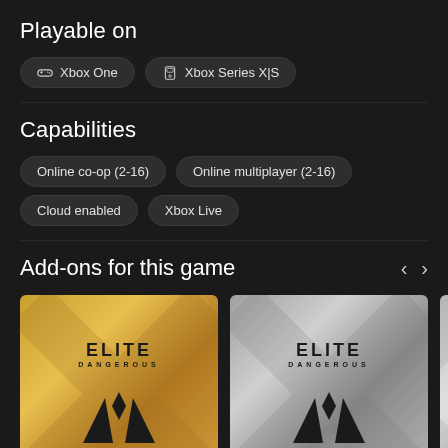Playable on
Xbox One
Xbox Series X|S
Capabilities
Online co-op (2-16)
Online multiplayer (2-16)
Cloud enabled
Xbox Live
Add-ons for this game
[Figure (illustration): Elite Dangerous gold edition add-on card with golden gradient background and Elite Dangerous logo with black diamond-triangle emblem]
[Figure (illustration): Elite Dangerous silver edition add-on card with silver/grey gradient background and Elite Dangerous logo with black diamond-triangle emblem]
[Figure (illustration): Partial view of a third add-on card with light grey gradient, cropped at right edge]